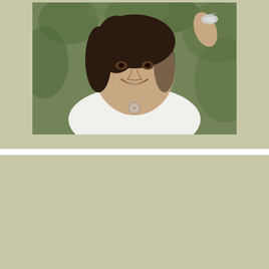[Figure (photo): Portrait photo of a smiling woman with dark hair wearing a white top and a silver necklace with a round pendant, set against a green outdoor background. She has a silver bracelet on her raised right hand.]
Jessica Valentine, BA, MA, Ed.S., CPsychol, AFBPsS, DCP
A Chartered Counselling Psychologist serving Worldwide Online & London specializing in